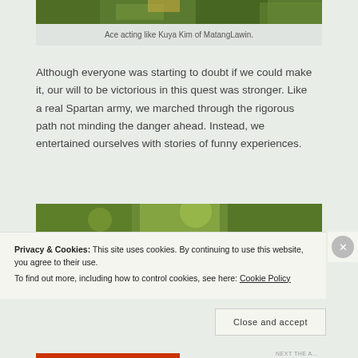[Figure (photo): Cropped photo of a person in a lush green jungle/forest setting with yellow accents visible]
Ace acting like Kuya Kim of MatangLawin.
Although everyone was starting to doubt if we could make it, our will to be victorious in this quest was stronger. Like a real Spartan army, we marched through the rigorous path not minding the danger ahead. Instead, we entertained ourselves with stories of funny experiences.
[Figure (photo): Cropped photo of a lush forest canopy with green trees and light filtering through]
Privacy & Cookies: This site uses cookies. By continuing to use this website, you agree to their use.
To find out more, including how to control cookies, see here: Cookie Policy
Close and accept